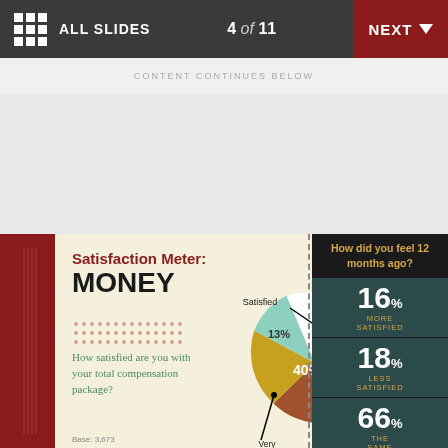ALL SLIDES   4 of 11   NEXT
CONTENT CONTINUES BELOW
[Figure (pie-chart): Pie chart showing satisfaction with total compensation package. Slices: Satisfied 40% (dark brown), Neither satisfied nor dissatisfied 25% (medium brown), Dissatisfied 18% (yellow/gold), Very satisfied 13% (teal/light blue), small white slice.]
How satisfied are you with your total compensation package?
Base: 3,673
How did you feel 12 months ago?
16% MORE SATISFIED
18% LESS SATISFIED
66% THE SAME
Base: 3,073 respondents